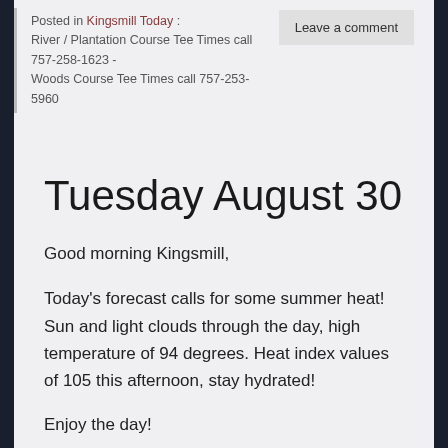Posted in Kingsmill Today : River / Plantation Course Tee Times call 757-258-1623 - Woods Course Tee Times call 757-253-5960
Leave a comment
Tuesday August 30
Good morning Kingsmill,
Today's forecast calls for some summer heat! Sun and light clouds through the day, high temperature of 94 degrees. Heat index values of 105 this afternoon, stay hydrated!
Enjoy the day!